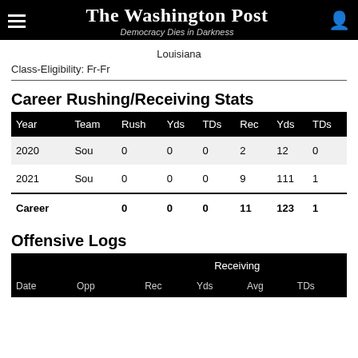The Washington Post — Democracy Dies in Darkness
Louisiana
Class-Eligibility: Fr-Fr
Career Rushing/Receiving Stats
| Year | Team | Rush | Yds | TDs | Rec | Yds | TDs |
| --- | --- | --- | --- | --- | --- | --- | --- |
| 2020 | Sou | 0 | 0 | 0 | 2 | 12 | 0 |
| 2021 | Sou | 0 | 0 | 0 | 9 | 111 | 1 |
| Career |  | 0 | 0 | 0 | 11 | 123 | 1 |
Offensive Logs
| Date | Opp |  | Receiving |  |  |  |
| --- | --- | --- | --- | --- | --- | --- |
| Date | Opp |  | Rec | Yds | Avg | TDs |